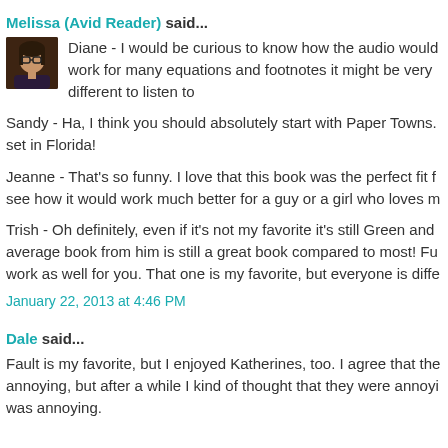Melissa (Avid Reader) said...
[Figure (photo): Small square avatar photo of a woman with dark hair and glasses]
Diane - I would be curious to know how the audio would work for many equations and footnotes it might be very different to listen to
Sandy - Ha, I think you should absolutely start with Paper Towns. set in Florida!
Jeanne - That's so funny. I love that this book was the perfect fit f see how it would work much better for a guy or a girl who loves m
Trish - Oh definitely, even if it's not my favorite it's still Green and average book from him is still a great book compared to most! Fu work as well for you. That one is my favorite, but everyone is diffe
January 22, 2013 at 4:46 PM
Dale said...
Fault is my favorite, but I enjoyed Katherines, too. I agree that the annoying, but after a while I kind of thought that they were annoyi was annoying.